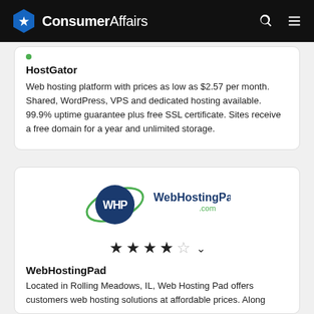ConsumerAffairs
HostGator
Web hosting platform with prices as low as $2.57 per month. Shared, WordPress, VPS and dedicated hosting available. 99.9% uptime guarantee plus free SSL certificate. Sites receive a free domain for a year and unlimited storage.
[Figure (logo): WebHostingPad logo with WHP blue circle and green orbital ring]
[Figure (infographic): 3.5 out of 5 stars rating for WebHostingPad]
WebHostingPad
Located in Rolling Meadows, IL, Web Hosting Pad offers customers web hosting solutions at affordable prices. Along